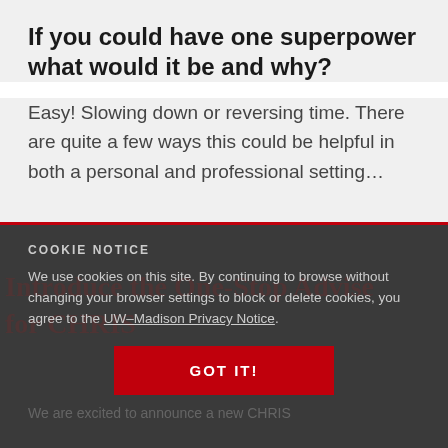If you could have one superpower what would it be and why?
Easy! Slowing down or reversing time. There are quite a few ways this could be helpful in both a personal and professional setting…
COOKIE NOTICE
We use cookies on this site. By continuing to browse without changing your browser settings to block or delete cookies, you agree to the UW–Madison Privacy Notice.
GOT IT!
We are excited to announce a new CHRIS